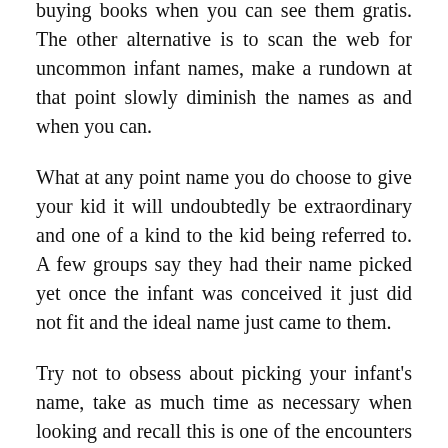buying books when you can see them gratis. The other alternative is to scan the web for uncommon infant names, make a rundown at that point slowly diminish the names as and when you can.
What at any point name you do choose to give your kid it will undoubtedly be extraordinary and one of a kind to the kid being referred to. A few groups say they had their name picked yet once the infant was conceived it just did not fit and the ideal name just came to them.
Try not to obsess about picking your infant's name, take as much time as necessary when looking and recall this is one of the encounters of labor and having youngsters that ought to be appreciated and treasured. Regardless of whether you settle on uncommon infant names or something conventional you will know when the correct name comes up.